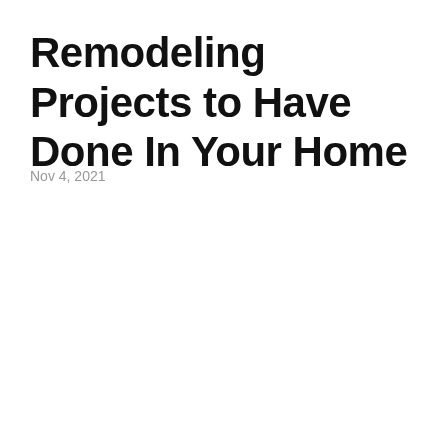Remodeling Projects to Have Done In Your Home
Nov 4, 2021